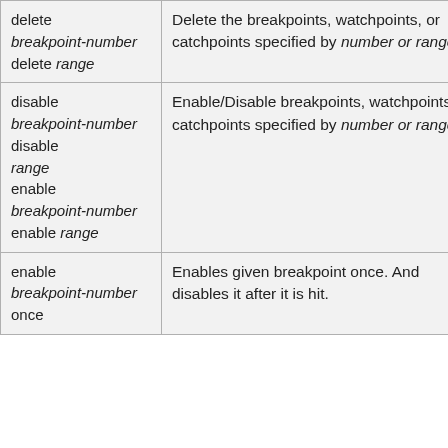| Command | Description |
| --- | --- |
| delete breakpoint-number
delete range | Delete the breakpoints, watchpoints, or catchpoints specified by number or ranges. |
| disable breakpoint-number
disable range
enable breakpoint-number
enable range | Enable/Disable breakpoints, watchpoints or catchpoints specified by number or ranges. |
| enable breakpoint-number once | Enables given breakpoint once. And disables it after it is hit. |